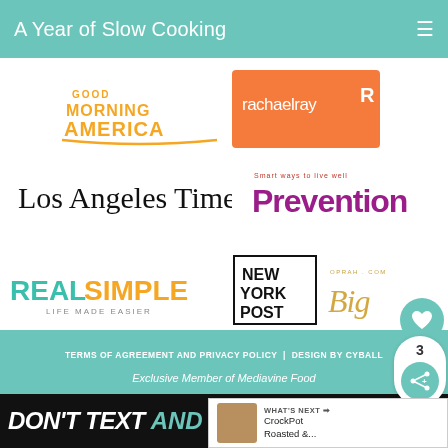A Year of Slow Cooking
[Figure (logo): Good Morning America logo - gold/yellow text on white background]
[Figure (logo): Rachael Ray logo - white text on orange/pink background]
[Figure (logo): Los Angeles Times logo - black serif text]
[Figure (logo): Prevention magazine logo - purple/magenta text with tagline 'Smart ways to live well']
[Figure (logo): Real Simple logo - teal and orange text with 'LIFE MADE EASIER' subtitle]
[Figure (logo): New York Post logo - black bold text in box]
[Figure (logo): Oprah.com logo - gold script text]
TERMS OF AGREEMENT AND PRIVACY POLICY | DESIGN BY CYBALL
Exclusive Member of Mediavine Food